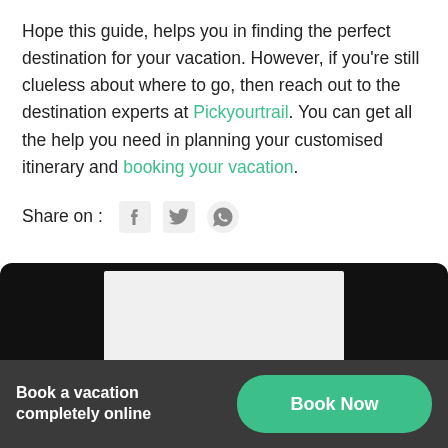Hope this guide, helps you in finding the perfect destination for your vacation. However, if you're still clueless about where to go, then reach out to the destination experts at Pickyourtrail. You can get all the help you need in planning your customised itinerary and booking your vacation.
Share on :
[Figure (infographic): Dark banner with white inner rectangle (video embed placeholder). Bottom footer bar with 'Book a vacation completely online' text and green 'Book Now' button.]